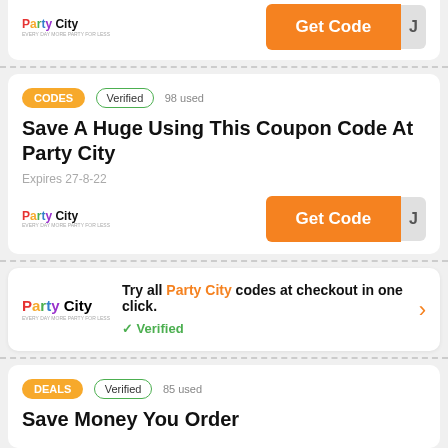[Figure (screenshot): Partial coupon card top with Get Code orange button and Party City logo, cut off at top]
CODES Verified 98 used — Save A Huge Using This Coupon Code At Party City — Expires 27-8-22 — Get Code
[Figure (infographic): Party City checkout banner: Try all Party City codes at checkout in one click. Verified checkmark.]
DEALS Verified 85 used — Save Money You Order